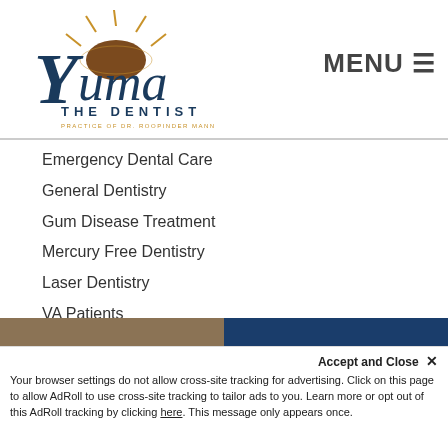[Figure (logo): Yuma The Dentist logo with sun graphic and text 'THE DENTIST PRACTICE OF DR. ROOPINDER MANN']
MENU ☰
Emergency Dental Care
General Dentistry
Gum Disease Treatment
Mercury Free Dentistry
Laser Dentistry
VA Patients
Prepless Veneers
Restorative Dentistry
Root Canals
Sedation Dentistry
Teeth Whitening
Accept and Close ✕
Your browser settings do not allow cross-site tracking for advertising. Click on this page to allow AdRoll to use cross-site tracking to tailor ads to you. Learn more or opt out of this AdRoll tracking by clicking here. This message only appears once.